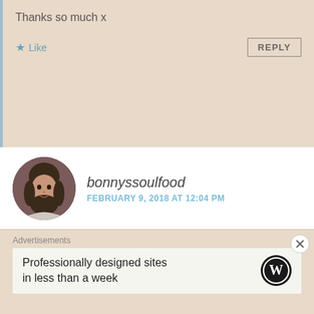Thanks so much x
Like
REPLY
bonnyssoulfood
FEBRUARY 9, 2018 AT 12:04 PM
Oh, the color is just so gorgeous, suits your skin ton perfectly! I am happy for you, wishing you a blessed marriage. 🙂 ♡
Liked by 2 people
REPLY
Advertisements
Professionally designed sites in less than a week